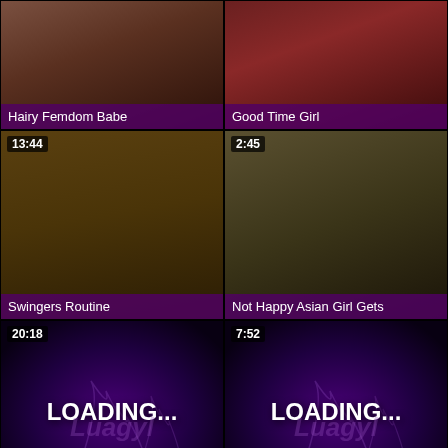[Figure (screenshot): Video thumbnail grid showing 8 video thumbnails in 2 columns. Top row: 'Hairy Femdom Babe' and 'Good Time Girl' without duration tags. Second row: 'Swingers Routine' (13:44) and 'Not Happy Asian Girl Gets' (2:45). Third row: 'Goat Ride Through Autumn' (20:18, loading) and 'Passion-HD Massage girl gets..' (7:52, loading). Bottom row: two dark thumbnails with durations 9:14 and 6:16.]